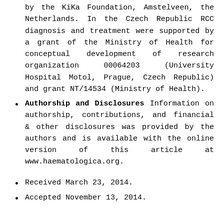by the KiKa Foundation, Amstelveen, the Netherlands. In the Czech Republic RCC diagnosis and treatment were supported by a grant of the Ministry of Health for conceptual development of research organization 00064203 (University Hospital Motol, Prague, Czech Republic) and grant NT/14534 (Ministry of Health).
Authorship and Disclosures Information on authorship, contributions, and financial & other disclosures was provided by the authors and is available with the online version of this article at www.haematologica.org.
Received March 23, 2014.
Accepted November 13, 2014.
References